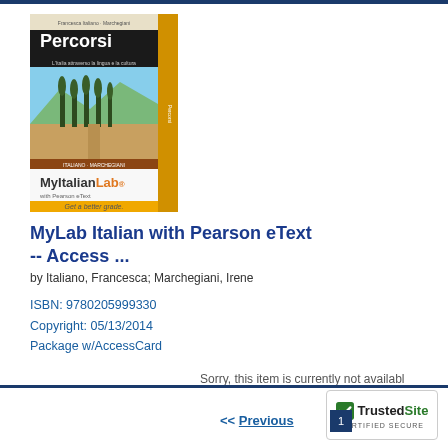[Figure (photo): Book cover for MyItalianLab with Pearson eText, featuring Percorsi textbook on yellow background with Tuscan landscape photo, MyItalianLab branding and Get a better grade tagline]
MyLab Italian with Pearson eText -- Access ...
by Italiano, Francesca; Marchegiani, Irene
ISBN: 9780205999330
Copyright: 05/13/2014
Package w/AccessCard
Sorry, this item is currently not availabl
[Figure (logo): TrustedSite Certified Secure badge]
<< Previous